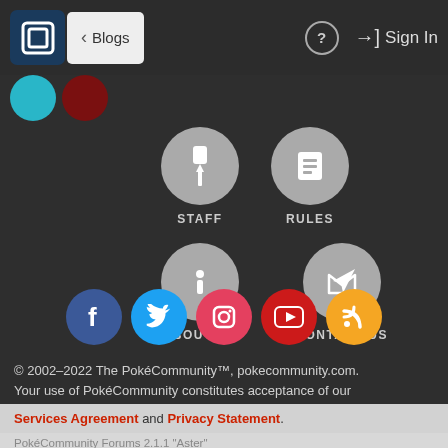< Blogs   ? Sign In
[Figure (screenshot): Navigation menu with STAFF, RULES, ABOUT US, CONTACT US icons on dark background, with social media icons (Facebook, Twitter, Instagram, YouTube, RSS)]
© 2002–2022 The PokéCommunity™, pokecommunity.com.
Your use of PokéCommunity constitutes acceptance of our Services Agreement and Privacy Statement.
PokéCommunity Forums 2.1.1 "Aster"